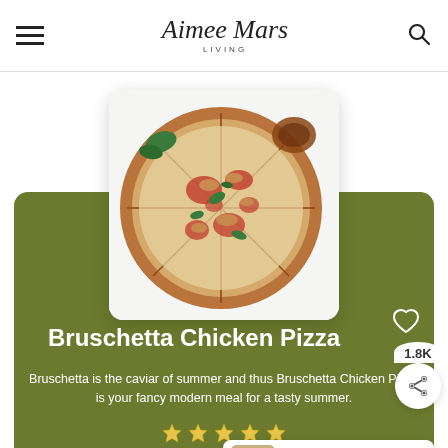Aimee Mars Living
[Figure (photo): Top-down photo of a bruschetta chicken pizza with tomatoes, fresh basil leaves, and toppings arranged on a white background, cut into slices]
Bruschetta Chicken Pizza
Bruschetta is the caviar of summer and thus Bruschetta Chicken Pizza is your fancy modern meal for a tasty summer.
WHAT'S NEXT → Chicken Enchilada...